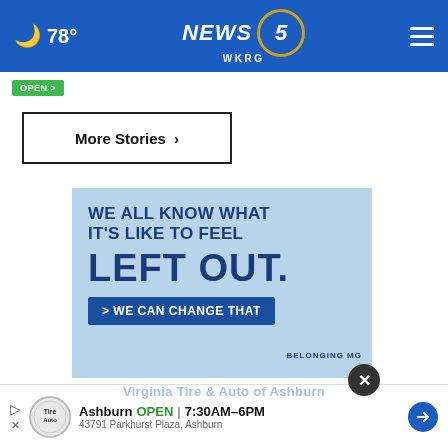🌙 78° | NEWS 5 WKRG
More Stories ›
[Figure (infographic): Advertisement banner with light blue background. Text reads: WE ALL KNOW WHAT IT'S LIKE TO FEEL LEFT OUT. Button: > WE CAN CHANGE THAT. BELONGING MG logo at bottom right.]
Virginia Tire & Auto of Ashburn
Ashburn OPEN | 7:30AM–6PM
43791 Parkhurst Plaza, Ashburn